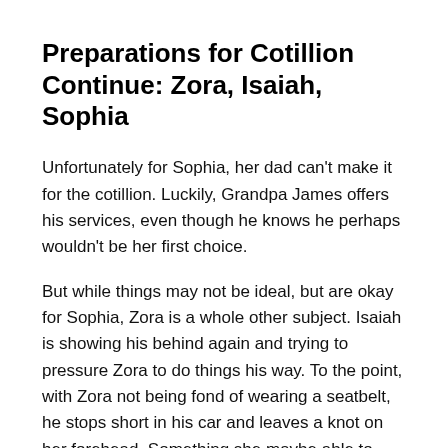Preparations for Cotillion Continue: Zora, Isaiah, Sophia
Unfortunately for Sophia, her dad can't make it for the cotillion. Luckily, Grandpa James offers his services, even though he knows he perhaps wouldn't be her first choice.
But while things may not be ideal, but are okay for Sophia, Zora is a whole other subject. Isaiah is showing his behind again and trying to pressure Zora to do things his way. To the point, with Zora not being fond of wearing a seatbelt, he stops short in his car and leaves a knot on her forehead. Something she maybe able to cover up with makeup now, but who knows if this is but a taste of what is to come.